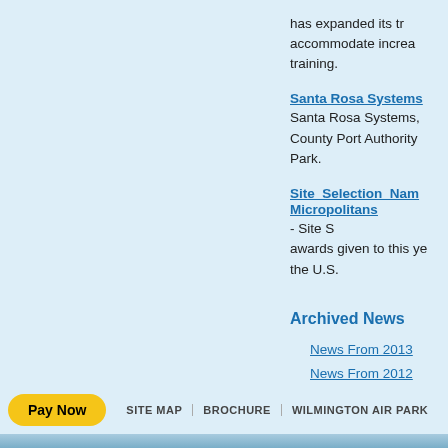has expanded its training to accommodate increased training.
Santa Rosa Systems
Santa Rosa Systems, County Port Authority Park.
Site Selection Named Micropolitans
- Site S awards given to this year in the U.S.
Archived News
News From 2013
News From 2012
News From 2011
News From 2010
Pay Now | SITE MAP | BROCHURE | WILMINGTON AIR PARK